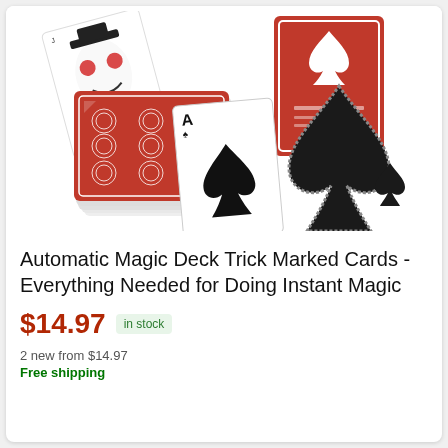[Figure (photo): Product photo of a magic card deck set showing red-backed playing cards spread out, the card box with red spade suit design, an ace of spades card, and a large black spade suit symbol]
Automatic Magic Deck Trick Marked Cards - Everything Needed for Doing Instant Magic
$14.97  in stock
2 new from $14.97
Free shipping